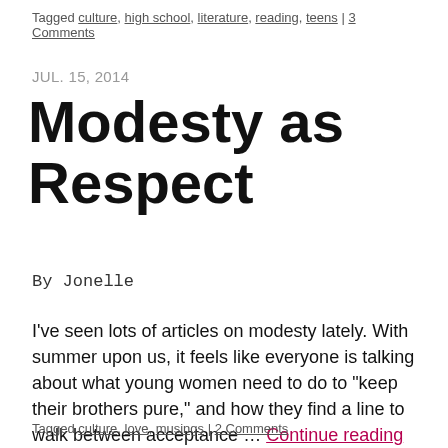Tagged culture, high school, literature, reading, teens | 3 Comments
JUL. 15, 2014
Modesty as Respect
By Jonelle
I've seen lots of articles on modesty lately. With summer upon us, it feels like everyone is talking about what young women need to do to "keep their brothers pure," and how they find a line to walk between acceptance … Continue reading →
Tagged culture, love, musings | 2 Comments